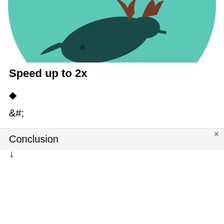[Figure (illustration): Circular teal/turquoise illustration showing a dark silhouette of an animal (appears to be a deer or similar creature) with reddish-brown antlers against a teal background, partially cropped at the top of the page.]
Speed up to 2x
◆
&#;
Conclusion
↓